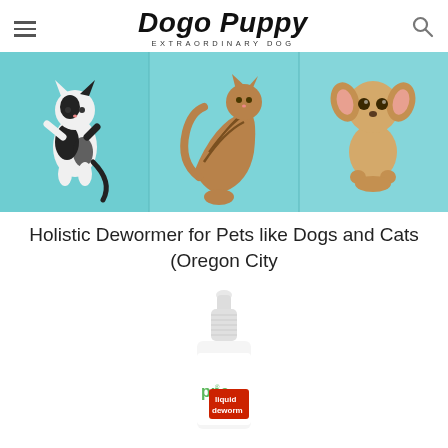Dogo Puppy — EXTRAORDINARY DOG
[Figure (photo): Three pets against teal/blue background: a black-and-white kitten standing on hind legs, a tabby cat stretching/arching, and a small Chihuahua dog sitting upright.]
Holistic Dewormer for Pets like Dogs and Cats (Oregon City
[Figure (photo): A white dropper/liquid bottle labeled 'ppe liquid deworm' on a white background — a holistic liquid dewormer product.]